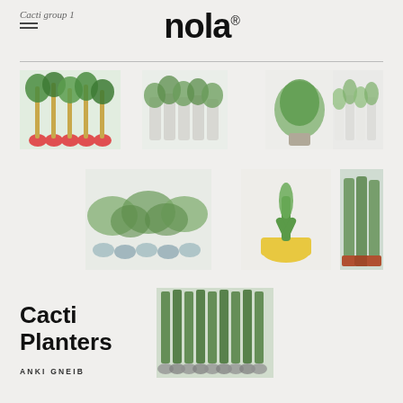Cacti group 1
nola®
[Figure (photo): Group of colorful planters with tall green plants, red/coral round pots in a row]
[Figure (photo): Tall cylindrical transparent planters with green plants in a row]
[Figure (photo): Bushy green plant in a planter]
[Figure (photo): Tall white cylindrical planters with green plants in a row]
[Figure (photo): Low spreading green plants in multiple small round planters]
[Figure (photo): Small cactus-like plant in a yellow round planter]
[Figure (photo): Green climbing plants against a window, in terracotta pots]
[Figure (photo): Row of green bamboo-like plants in round grey planters, outdoor setting]
Cacti Planters
ANKI GNEIB